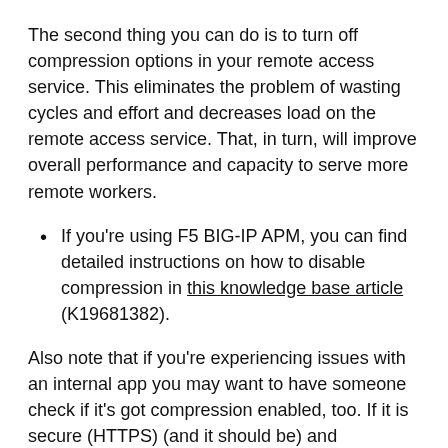The second thing you can do is to turn off compression options in your remote access service. This eliminates the problem of wasting cycles and effort and decreases load on the remote access service. That, in turn, will improve overall performance and capacity to serve more remote workers.
If you're using F5 BIG-IP APM, you can find detailed instructions on how to disable compression in this knowledge base article (K19681382).
Also note that if you're experiencing issues with an internal app you may want to have someone check if it's got compression enabled, too. If it is secure (HTTPS) (and it should be) and compression is turned on, you may want to try disabling it. If your apps are running on NGINX, you can find more about managing compression here.
Other Avenues to Pursue
Another option is to encourage users to turn down the